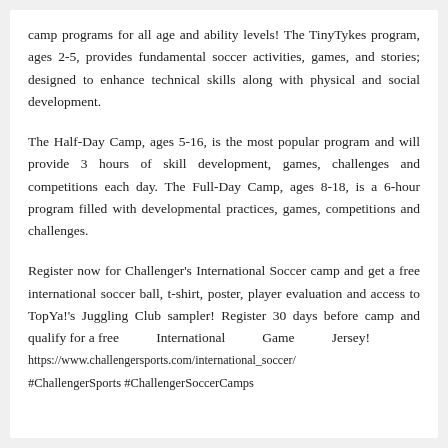camp programs for all age and ability levels! The TinyTykes program, ages 2-5, provides fundamental soccer activities, games, and stories; designed to enhance technical skills along with physical and social development.
The Half-Day Camp, ages 5-16, is the most popular program and will provide 3 hours of skill development, games, challenges and competitions each day. The Full-Day Camp, ages 8-18, is a 6-hour program filled with developmental practices, games, competitions and challenges.
Register now for Challenger's International Soccer camp and get a free international soccer ball, t-shirt, poster, player evaluation and access to TopYa!'s Juggling Club sampler! Register 30 days before camp and qualify for a free International Game Jersey! https://www.challengersports.com/international_soccer/ #ChallengerSports #ChallengerSoccerCamps